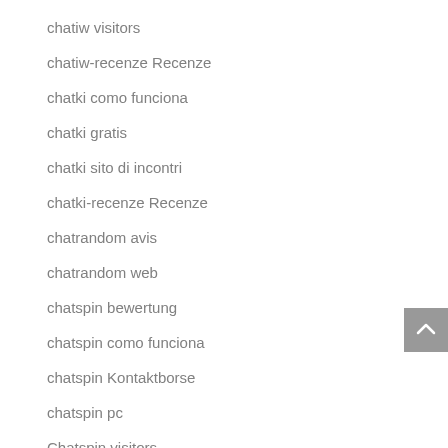chatiw visitors
chatiw-recenze Recenze
chatki como funciona
chatki gratis
chatki sito di incontri
chatki-recenze Recenze
chatrandom avis
chatrandom web
chatspin bewertung
chatspin como funciona
chatspin Kontaktborse
chatspin pc
Chatspin visitors
chatspin-overzicht Review
chatspin-recenze Recenze